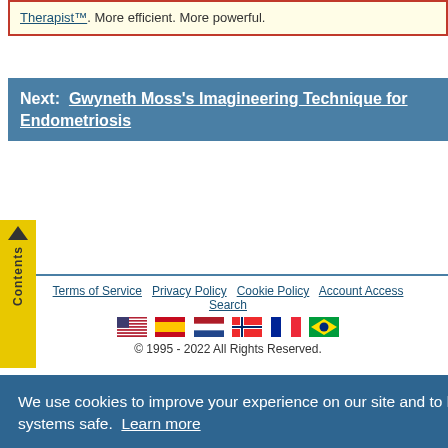Therapist™. More efficient. More powerful.
Next: Gwyneth Moss's Imagineering Technique for Endometriosis
Terms of Service  Privacy Policy  Cookie Policy  Account Access  Search
[Figure (other): Row of six country flags: USA, Spain, Netherlands, Norway, France, Brazil]
© 1995 - 2022 All Rights Reserved.
We use cookies to improve your experience on our site and to keep you and our systems safe.  Learn more
I Understand